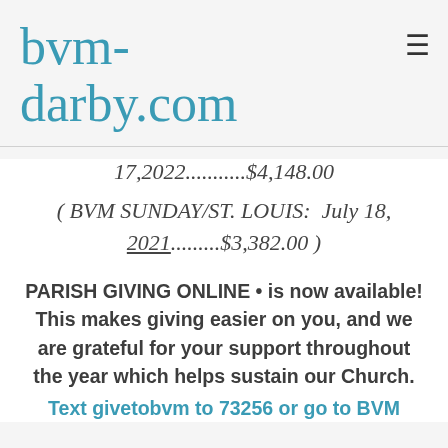bvm-darby.com
17,2022...........$4,148.00
( BVM SUNDAY/ST. LOUIS:  July 18, 2021.........$3,382.00 )
PARISH GIVING ONLINE • is now available! This makes giving easier on you, and we are grateful for your support throughout the year which helps sustain our Church.
Text givetobvm to 73256 or go to BVM